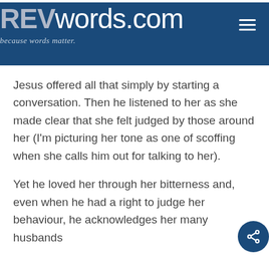REVwords.com — because words matter.
Jesus offered all that simply by starting a conversation. Then he listened to her as she made clear that she felt judged by those around her (I'm picturing her tone as one of scoffing when she calls him out for talking to her).
Yet he loved her through her bitterness and, even when he had a right to judge her behaviour, he acknowledges her many husbands